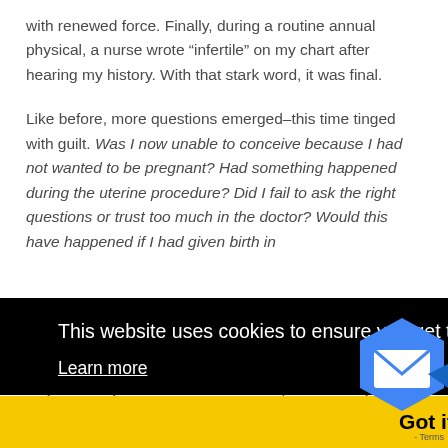with renewed force. Finally, during a routine annual physical, a nurse wrote “infertile” on my chart after hearing my history. With that stark word, it was final.
Like before, more questions emerged–this time tinged with guilt. Was I now unable to conceive because I had not wanted to be pregnant? Had something happened during the uterine procedure? Did I fail to ask the right questions or trust too much in the doctor? Would this have happened if I had given birth in [partially visible]
[Figure (screenshot): Cookie consent banner overlay with black background. Text reads: 'This website uses cookies to ensure you get the best experience on our website.' with a 'Learn more' underlined link. A yellow 'Got it!' button bar appears at the bottom.]
fully know my third child and we will spend eternity toget...